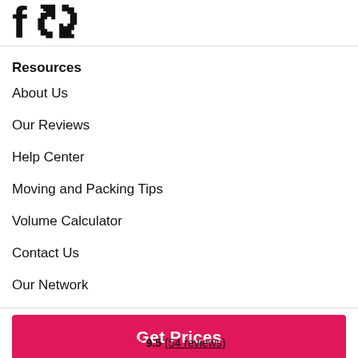[Figure (logo): Partial logo showing large bold characters, cropped at top]
Resources
About Us
Our Reviews
Help Center
Moving and Packing Tips
Volume Calculator
Contact Us
Our Network
Get Prices
★ 9.5 (54 reviews)